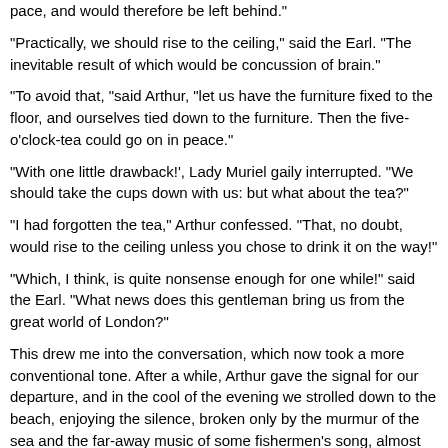pace, and would therefore be left behind."
"Practically, we should rise to the ceiling," said the Earl. "The inevitable result of which would be concussion of brain."
"To avoid that, "said Arthur, "let us have the furniture fixed to the floor, and ourselves tied down to the furniture. Then the five-o'clock-tea could go on in peace."
"With one little drawback!', Lady Muriel gaily interrupted. "We should take the cups down with us: but what about the tea?"
"I had forgotten the tea," Arthur confessed. "That, no doubt, would rise to the ceiling unless you chose to drink it on the way!"
"Which, I think, is quite nonsense enough for one while!" said the Earl. "What news does this gentleman bring us from the great world of London?"
This drew me into the conversation, which now took a more conventional tone. After a while, Arthur gave the signal for our departure, and in the cool of the evening we strolled down to the beach, enjoying the silence, broken only by the murmur of the sea and the far-away music of some fishermen's song, almost as much as our late pleasant talk.
We sat down among the rocks, by a little pool, so rich in animal, vegetable, and zoophytic --or whatever is the right word--life, that I became entranced in the study of it, and, when Arthur proposed returning to our lodgings, I begged to be left there for a while, to watch and muse alone.
The fishermen's song grew ever nearer and clearer, as their boat stood in